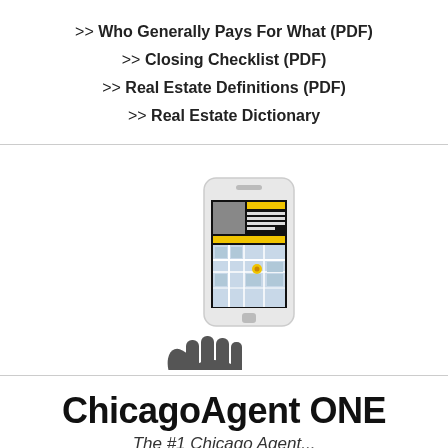>> Who Generally Pays For What (PDF)
>> Closing Checklist (PDF)
>> Real Estate Definitions (PDF)
>> Real Estate Dictionary
[Figure (illustration): Hand holding a smartphone displaying a real estate app with property listing and map view]
ChicagoAgent ONE
The #1 Chicago Agent...